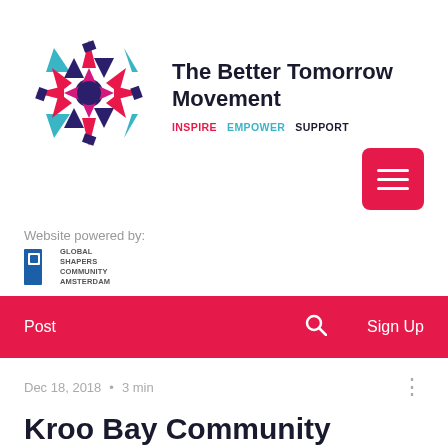[Figure (logo): The Better Tomorrow Movement geometric mandala logo with pink, teal, navy, and olive-green triangles and shapes arranged in a circular pattern]
The Better Tomorrow Movement
INSPIRE   EMPOWER   SUPPORT
[Figure (illustration): Pink hamburger menu button (three horizontal white lines on pink rounded square)]
Website powered by:
[Figure (logo): Global Shapers Community Amsterdam logo]
Post     🔍     Sign Up
Dec 18, 2018  •  3 min
Kroo Bay Community